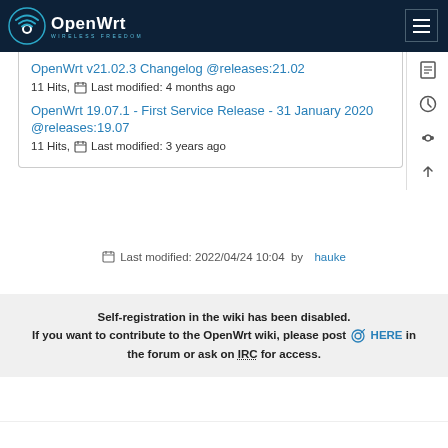[Figure (logo): OpenWrt logo with wireless icon and 'WIRELESS FREEDOM' tagline on dark navy header bar]
OpenWrt v21.02.3 Changelog @releases:21.02
11 Hits, Last modified: 4 months ago
OpenWrt 19.07.1 - First Service Release - 31 January 2020 @releases:19.07
11 Hits, Last modified: 3 years ago
Last modified: 2022/04/24 10:04 by hauke
Self-registration in the wiki has been disabled.
If you want to contribute to the OpenWrt wiki, please post HERE in the forum or ask on IRC for access.